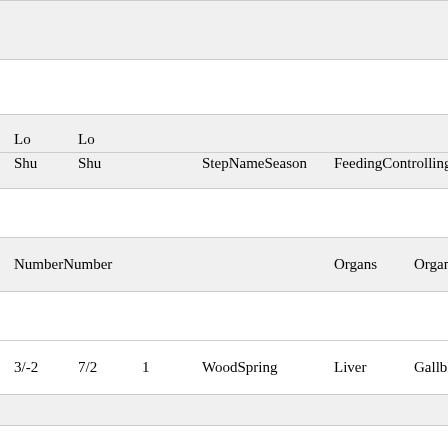| Lo
Shu Number | Lo
Shu Number | Step | Name
Season | Feeding
Organs | Controlling
Organs | Process |
| --- | --- | --- | --- | --- | --- | --- |
| 3/-2 | 7/2 | 1 | Wood
Spring | Liver | Gallbladder | Protect |